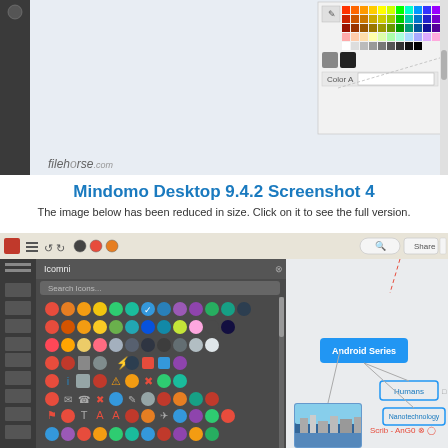[Figure (screenshot): Top portion of Mindomo Desktop screenshot showing a mind map with 'Android Series' node, 'Humans' node, color picker panel, and filehorse.com watermark]
Mindomo Desktop 9.4.2 Screenshot 4
The image below has been reduced in size. Click on it to see the full version.
[Figure (screenshot): Mindomo Desktop screenshot showing mind map with icons panel on left, 'Android Series' node connected to 'Humans' node, 'Nanotechnology' node, and an image node labeled 'Cities']